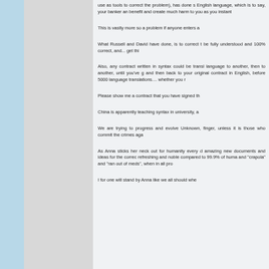use as tools to correct the problem), has done s English language, which is to say, your banker an benefit and create much harm to you as you instant
This is vastly more so a problem if anyone enters a
What Russell and David have done, is to correct t be fully understood and 100% correct, and... get thi
Also, any contract written in syntax could be transl language to another, then to another, until you've g and then back to your original contract in English, before 5000 language translations.... whether you r
Please show me a contract that you have signed th
China is apparently teaching syntax in university, a
We are trying to progress and evolve Unknown, finger, unless it is those who commit the crimes aga
As Anna sticks her neck out for humanity every d amazing new documents and ideas for the correc refreshing and noble compared to 99.9% of huma and "crapola" and "ran out of meds", when in all pro
I for one will stand by Anna like we all should whe